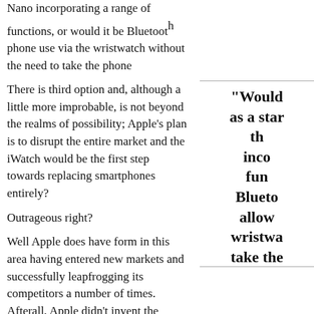Nano incorporating a range of functions, or would it be Bluetooth phone use via the wristwatch without the need to take the phone
There is third option and, although a little more improbable, is not beyond the realms of possibility; Apple’s plan is to disrupt the entire market and the iWatch would be the first step towards replacing smartphones entirely?
Outrageous right?
Well Apple does have form in this area having entered new markets and successfully leapfrogging its competitors a number of times. Afterall, Apple didn’t invent the mobile phone, computer tablet or MP3 player but its product in each category changed and dominates the market.
According to Noel McKeegan, editor-in-chief Gizmag.com, a leading would be a logical extension for Apple and agrees it could replace
"Sit... ...right... Apple is in terms... consider... line...
"Would it be introduced as a standalone Nano incorporating a range of functions, or would it be Bluetooth allowing phone use via the wristwatch without the need to take the phone"